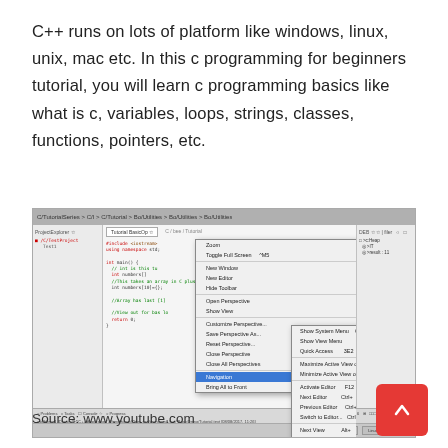C++ runs on lots of platform like windows, linux, unix, mac etc. In this c programming for beginners tutorial, you will learn c programming basics like what is c, variables, loops, strings, classes, functions, pointers, etc.
[Figure (screenshot): Eclipse IDE screenshot showing a context menu open with 'Navigation' submenu expanded, displaying editor navigation options like 'Show System Menu', 'Quick Access', 'Maximize Active View or Editor', 'Minimize Active View or Editor', 'Activate Editor', 'Next Editor', 'Previous Editor', 'Switch to Editor...', 'Next View', 'Previous View', 'Next Perspective', 'Previous Perspective'. The main menu shows options including Zoom, Toggle Full Screen, New Window, New Editor, Hide Toolbar, Open Perspective, Show View, Customize Perspective, Save Perspective As, Reset Perspective, Close Perspective, Close All Perspectives, Navigation, Bring All to Front.]
Source: www.youtube.com